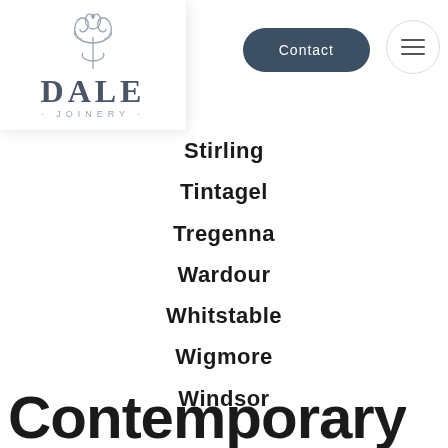[Figure (logo): Dale Joinery logo with ornamental tree icon above the text DALE and JOINERY]
Contact
Stirling
Tintagel
Tregenna
Wardour
Whitstable
Wigmore
Windsor
Contemporary